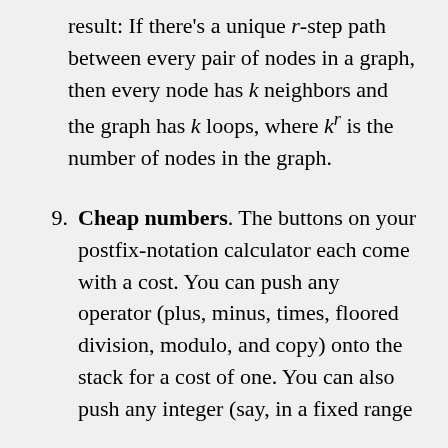result: If there's a unique r-step path between every pair of nodes in a graph, then every node has k neighbors and the graph has k loops, where k^r is the number of nodes in the graph.
9. Cheap numbers. The buttons on your postfix-notation calculator each come with a cost. You can push any operator (plus, minus, times, floored division, modulo, and copy) onto the stack for a cost of one. You can also push any integer (say, in a fixed range